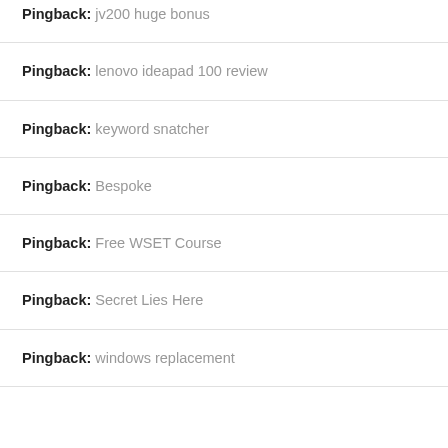Pingback: jv200 huge bonus
Pingback: lenovo ideapad 100 review
Pingback: keyword snatcher
Pingback: Bespoke
Pingback: Free WSET Course
Pingback: Secret Lies Here
Pingback: windows replacement